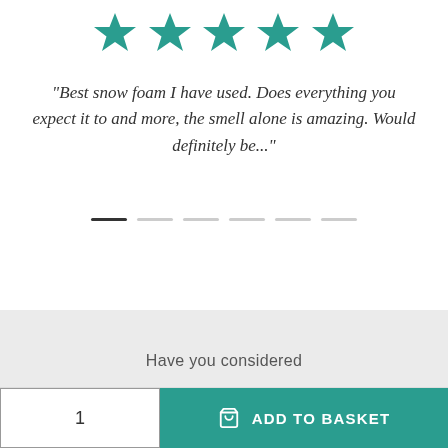[Figure (other): Five teal/green star rating icons in a row]
"Best snow foam I have used. Does everything you expect it to and more, the smell alone is amazing. Would definitely be..."
[Figure (other): Carousel/slider dots: one dark active dot followed by five light inactive dots]
Have you considered
1
ADD TO BASKET